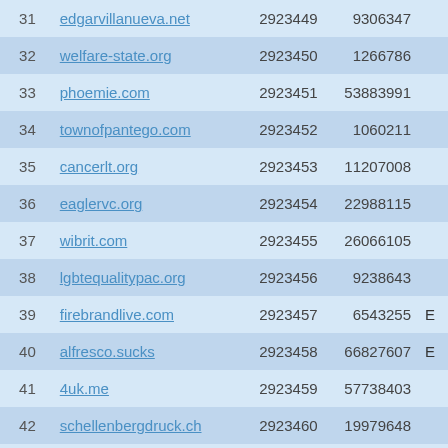| # | Domain | ID | Views |  |
| --- | --- | --- | --- | --- |
| 31 | edgarvillanueva.net | 2923449 | 9306347 |  |
| 32 | welfare-state.org | 2923450 | 1266786 |  |
| 33 | phoemie.com | 2923451 | 53883991 |  |
| 34 | townofpantego.com | 2923452 | 1060211 |  |
| 35 | cancerlt.org | 2923453 | 11207008 |  |
| 36 | eaglervc.org | 2923454 | 22988115 |  |
| 37 | wibrit.com | 2923455 | 26066105 |  |
| 38 | lgbtequalitypac.org | 2923456 | 9238643 |  |
| 39 | firebrandlive.com | 2923457 | 6543255 | E |
| 40 | alfresco.sucks | 2923458 | 66827607 | E |
| 41 | 4uk.me | 2923459 | 57738403 |  |
| 42 | schellenbergdruck.ch | 2923460 | 19979648 |  |
| 43 | radyospor.com | 2923461 | 2599265 |  |
| 44 | webman.dk | 2923462 | 42090538 |  |